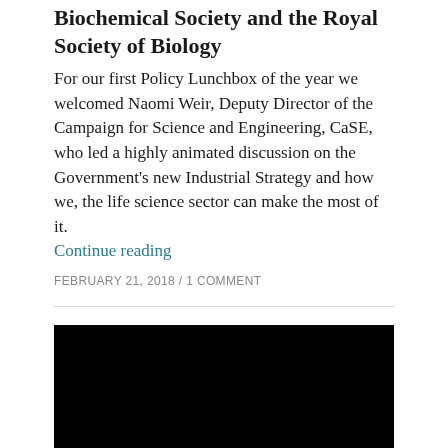Biochemical Society and the Royal Society of Biology
For our first Policy Lunchbox of the year we welcomed Naomi Weir, Deputy Director of the Campaign for Science and Engineering, CaSE, who led a highly animated discussion on the Government's new Industrial Strategy and how we, the life science sector can make the most of it. Continue reading
FEBRUARY 21, 2018 / 1 COMMENT
[Figure (photo): Black image block, appears to be a photo or video thumbnail with no visible content (all black)]